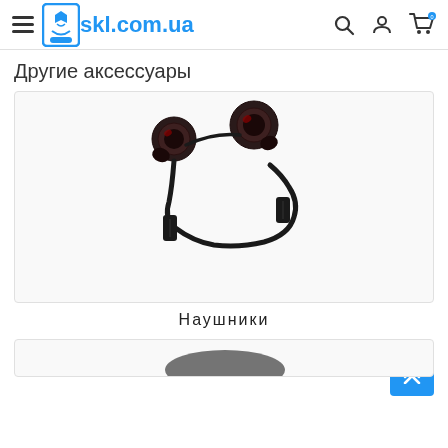skl.com.ua — navigation header with hamburger menu, logo, search, account, and cart icons
Другие аксессуары
[Figure (photo): Product photo of wireless neckband Bluetooth earphones/headphones with black cable and dark metallic earbuds]
Наушники
[Figure (photo): Partial view of another product at the bottom of the page]